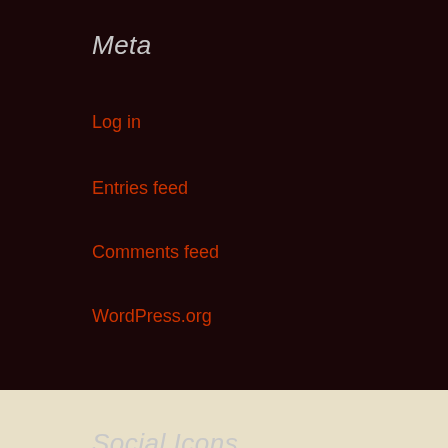Meta
Log in
Entries feed
Comments feed
WordPress.org
Social Icons
Be Social!
[Figure (infographic): Four social media icons: Facebook (blue), Twitter (blue), Patreon (orange), YouTube (red)]